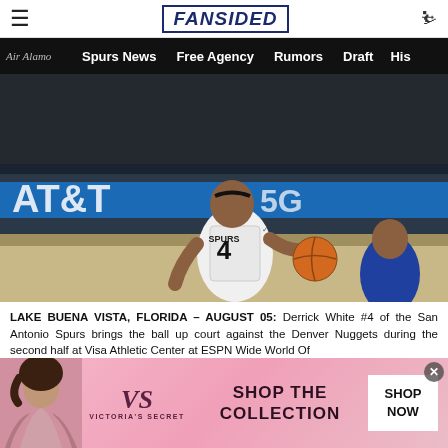FanSided — Spurs News | Free Agency | Rumors | Draft | Histo...
[Figure (photo): Derrick White #4 of the San Antonio Spurs dribbling a basketball in white Spurs uniform against a Denver Nuggets player, at NBA bubble. AT&T branding visible on the court sideline banner.]
LAKE BUENA VISTA, FLORIDA – AUGUST 05: Derrick White #4 of the San Antonio Spurs brings the ball up court against the Denver Nuggets during the second half at Visa Athletic Center at ESPN Wide World Of
[Figure (photo): Victoria's Secret advertisement banner showing a model and 'SHOP THE COLLECTION' text with a 'SHOP NOW' button.]